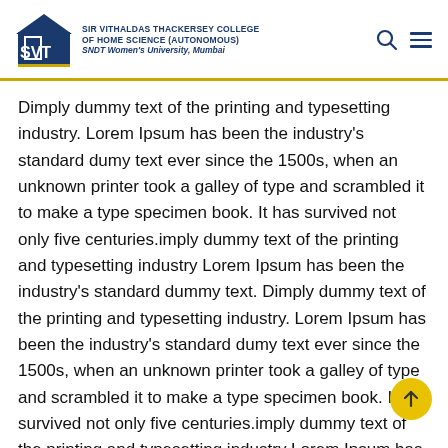SIR VITHALDAS THACKERSEY COLLEGE OF HOME SCIENCE (AUTONOMOUS) SNDT Women's University, Mumbai
Dimply dummy text of the printing and typesetting industry. Lorem Ipsum has been the industry's standard dumy text ever since the 1500s, when an unknown printer took a galley of type and scrambled it to make a type specimen book. It has survived not only five centuries.imply dummy text of the printing and typesetting industry Lorem Ipsum has been the industry's standard dummy text. Dimply dummy text of the printing and typesetting industry. Lorem Ipsum has been the industry's standard dumy text ever since the 1500s, when an unknown printer took a galley of type and scrambled it to make a type specimen book. It has survived not only five centuries.imply dummy text of the printing and typesetting industry Lorem Ipsum has been the industry's standard dummy text.